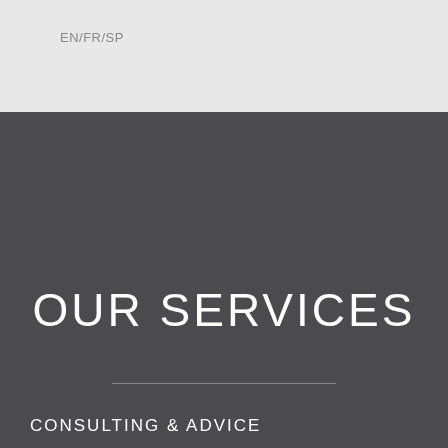EN/FR/SP
OUR SERVICES
CONSULTING & ADVICE
Assessment and strategy
Mental health at work